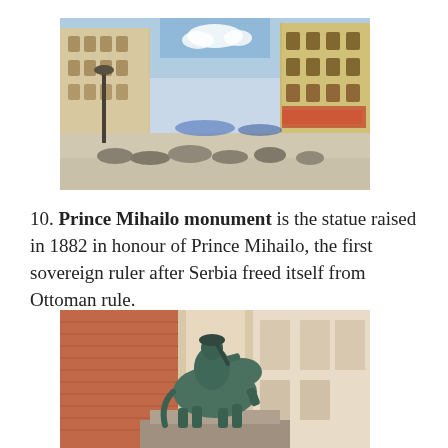[Figure (photo): Street view of a busy pedestrian shopping street in Belgrade with tall ornate buildings on both sides, crowds of people, warm sunny day.]
10. Prince Mihailo monument is the statue raised in 1882 in honour of Prince Mihailo, the first sovereign ruler after Serbia freed itself from Ottoman rule.
[Figure (photo): Bronze equestrian statue of Prince Mihailo on horseback, set against a brick building facade with classical architectural details.]